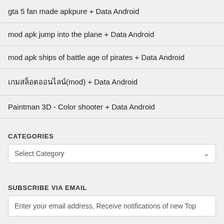gta 5 fan made apkpure + Data Android
mod apk jump into the plane + Data Android
mod apk ships of battle age of pirates + Data Android
เกมสล็อตออนไลน์(mod) + Data Android
Paintman 3D - Color shooter + Data Android
CATEGORIES
Select Category
SUBSCRIBE VIA EMAIL
Enter your email address, Receive notifications of new Top